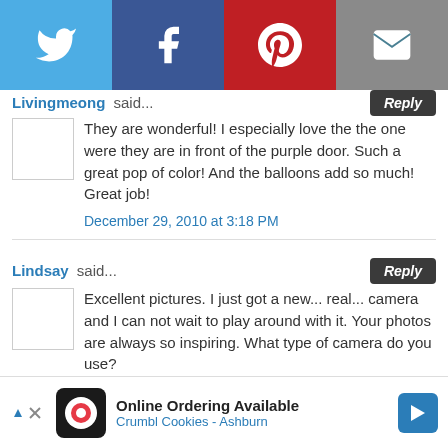[Figure (screenshot): Social media share bar with Twitter (blue), Facebook (dark blue), Pinterest (red), and Email (grey) buttons]
Livingmeong said...
They are wonderful! I especially love the the one were they are in front of the purple door. Such a great pop of color! And the balloons add so much! Great job!
December 29, 2010 at 3:18 PM
Lindsay said...
Excellent pictures. I just got a new... real... camera and I can not wait to play around with it. Your photos are always so inspiring. What type of camera do you use?
December 29, 2010 at 3:28 PM
Unknown said...
[Figure (screenshot): Advertisement banner: Online Ordering Available - Crumbl Cookies - Ashburn]